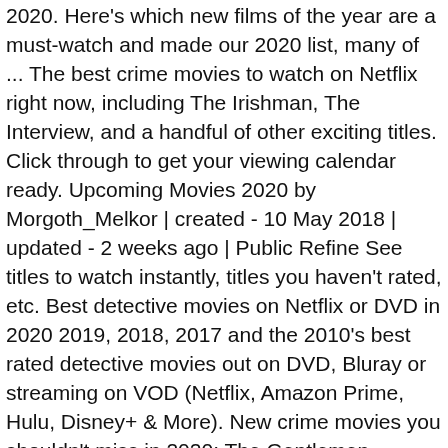2020. Here's which new films of the year are a must-watch and made our 2020 list, many of ... The best crime movies to watch on Netflix right now, including The Irishman, The Interview, and a handful of other exciting titles. Click through to get your viewing calendar ready. Upcoming Movies 2020 by Morgoth_Melkor | created - 10 May 2018 | updated - 2 weeks ago | Public Refine See titles to watch instantly, titles you haven't rated, etc. Best detective movies on Netflix or DVD in 2020 2019, 2018, 2017 and the 2010's best rated detective movies out on DVD, Bluray or streaming on VOD (Netflix, Amazon Prime, Hulu, Disney+ & More). New crime movies you shouldn't miss in 2020: The Gentlemen. January 2020 Crime Movies. Amy Adams can make anything good. List of the latest mystery movies in 2020 and the best mystery movies of 2019 & the 2010's. Waldo is directed by Tim Kirkby, a man with an impressive CV when it comes to TV comedy (Veep, Fleabag, Stewart Lee's Comedy Vehicle), so expect a light touch and a fair few laughs. Given how great it looks, how superbly it moves, how glorious it sounds and how high it sends me, it should be titled